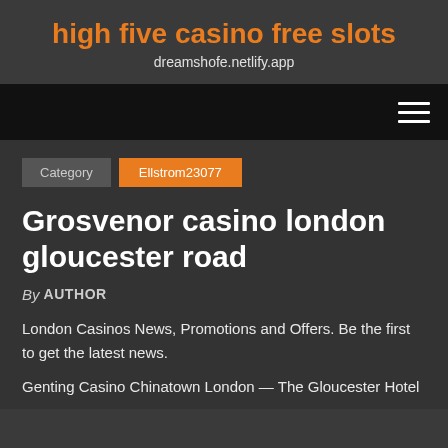high five casino free slots
dreamshofe.netlify.app
navigation bar with hamburger menu
Category  Ellstrom23077
Grosvenor casino london gloucester road
By AUTHOR
London Casinos News, Promotions and Offers. Be the first to get the latest news.
Genting Casino Chinatown London — The Gloucester Hotel